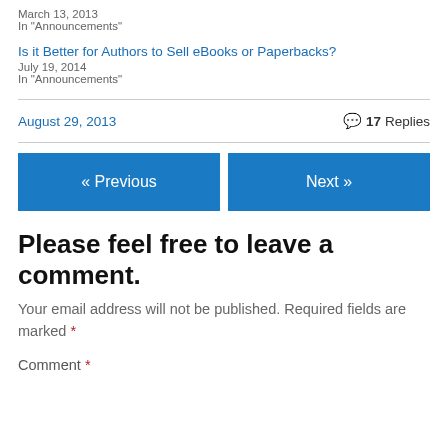March 13, 2013
In "Announcements"
Is it Better for Authors to Sell eBooks or Paperbacks?
July 19, 2014
In "Announcements"
August 29, 2013
17 Replies
« Previous
Next »
Please feel free to leave a comment.
Your email address will not be published. Required fields are marked *
Comment *